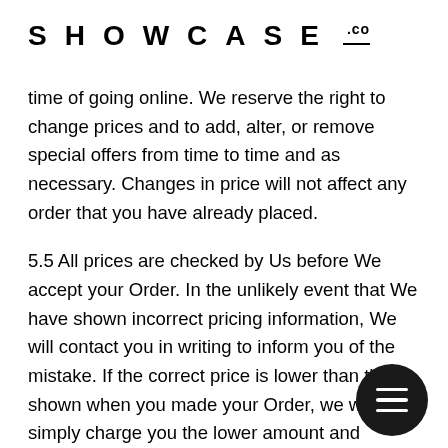SHOWCASE .co
time of going online. We reserve the right to change prices and to add, alter, or remove special offers from time to time and as necessary. Changes in price will not affect any order that you have already placed.
5.5 All prices are checked by Us before We accept your Order. In the unlikely event that We have shown incorrect pricing information, We will contact you in writing to inform you of the mistake. If the correct price is lower than that shown when you made your Order, we will simply charge you the lower amount and continue processing your Order. If the correct price is higher, We will give you the option to purchase